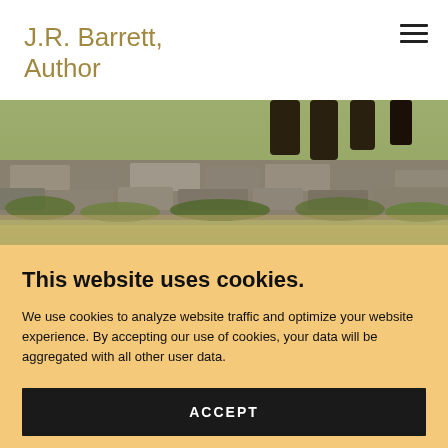J.R. Barrett, Author
[Figure (photo): Outdoor rocky terrain with stone ruins or old stone wall, green moss and grass, natural landscape photo used as hero image for website]
This website uses cookies.
We use cookies to analyze website traffic and optimize your website experience. By accepting our use of cookies, your data will be aggregated with all other user data.
ACCEPT